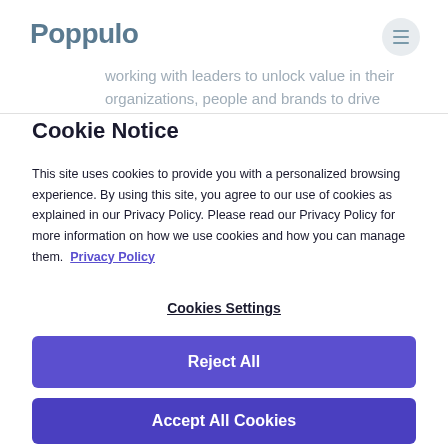Poppulo
working with leaders to unlock value in their organizations, people and brands to drive
Cookie Notice
This site uses cookies to provide you with a personalized browsing experience. By using this site, you agree to our use of cookies as explained in our Privacy Policy. Please read our Privacy Policy for more information on how we use cookies and how you can manage them.  Privacy Policy
Cookies Settings
Reject All
Accept All Cookies